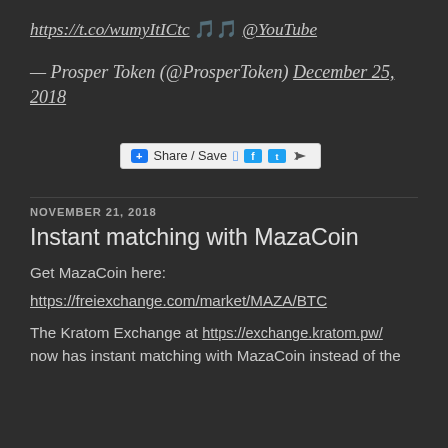https://t.co/wumyItICtc 🎵🎵 @YouTube
— Prosper Token (@ProsperToken) December 25, 2018
[Figure (other): Share / Save button bar with Facebook, Twitter, and share icons]
NOVEMBER 21, 2018
Instant matching with MazaCoin
Get MazaCoin here:
https://freiexchange.com/market/MAZA/BTC
The Kratom Exchange at https://exchange.kratom.pw/ now has instant matching with MazaCoin instead of the